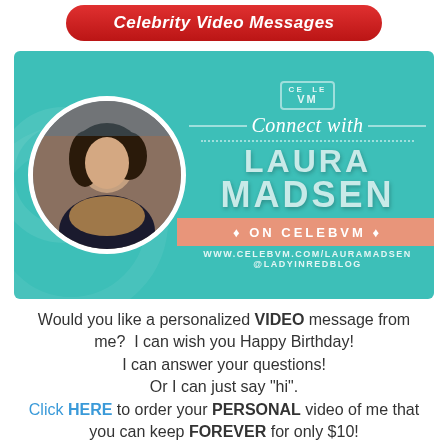Celebrity Video Messages
[Figure (infographic): Teal promotional banner for Laura Madsen on CelebVM. Left side features a circular photo of Laura Madsen. Right side shows logo, 'Connect with' in italic script, 'LAURA MADSEN' in large bold letters, a salmon-colored strip reading 'ON CELEBVM', and URL www.celebvm.com/lauramadsen @ladyinredblog]
Would you like a personalized VIDEO message from me?  I can wish you Happy Birthday! I can answer your questions! Or I can just say "hi". Click HERE to order your PERSONAL video of me that you can keep FOREVER for only $10!